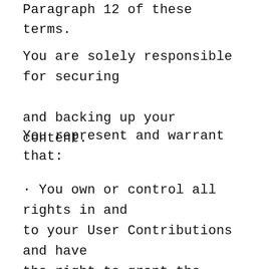Paragraph 12 of these terms.
You are solely responsible for securing and backing up your content.
You represent and warrant that:
· You own or control all rights in and to your User Contributions and have the right to grant the license granted above to us and [our affiliates and service providers, and each of their